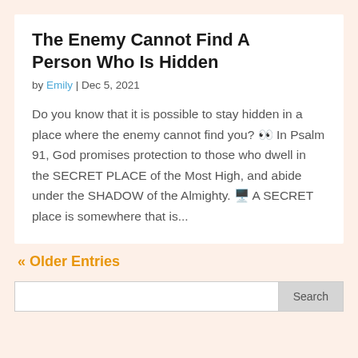The Enemy Cannot Find A Person Who Is Hidden
by Emily | Dec 5, 2021
Do you know that it is possible to stay hidden in a place where the enemy cannot find you? 👀 In Psalm 91, God promises protection to those who dwell in the SECRET PLACE of the Most High, and abide under the SHADOW of the Almighty. 🖥️ A SECRET place is somewhere that is...
« Older Entries
Search